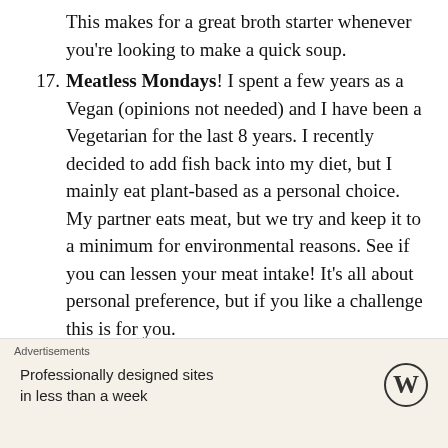This makes for a great broth starter whenever you're looking to make a quick soup.
17. Meatless Mondays! I spent a few years as a Vegan (opinions not needed) and I have been a Vegetarian for the last 8 years. I recently decided to add fish back into my diet, but I mainly eat plant-based as a personal choice. My partner eats meat, but we try and keep it to a minimum for environmental reasons. See if you can lessen your meat intake! It's all about personal preference, but if you like a challenge this is for you.
18. Walk or bike when you can and try to drive less! This one should be easy peasy right now during...
Advertisements
Professionally designed sites in less than a week